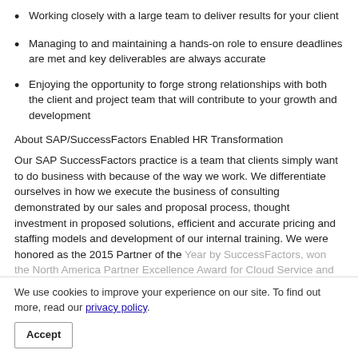Working closely with a large team to deliver results for your client
Managing to and maintaining a hands-on role to ensure deadlines are met and key deliverables are always accurate
Enjoying the opportunity to forge strong relationships with both the client and project team that will contribute to your growth and development
About SAP/SuccessFactors Enabled HR Transformation
Our SAP SuccessFactors practice is a team that clients simply want to do business with because of the way we work. We differentiate ourselves in how we execute the business of consulting demonstrated by our sales and proposal process, thought investment in proposed solutions, efficient and accurate pricing and staffing models and development of our internal training. We were honored as the 2015 Partner of the Year by SuccessFactors, won the North America Partner Excellence Award for Cloud Service and are the #1 SAP SuccessFactors partner in North America.
Qualifications
Required:
We use cookies to improve your experience on our site. To find out more, read our privacy policy.